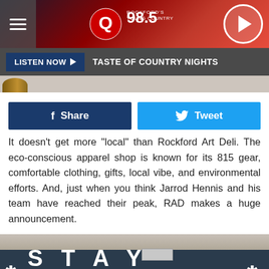Q98.5 WXXQ-FM Rock Music Radio
LISTEN NOW  TASTE OF COUNTRY NIGHTS
[Figure (screenshot): Facebook Share button and Twitter Tweet button]
It doesn't get more "local" than Rockford Art Deli. The eco-conscious apparel shop is known for its 815 gear, comfortable clothing, gifts, local vibe, and environmental efforts. And, just when you think Jarrod Hennis and his team have reached their peak, RAD makes a huge announcement.
[Figure (photo): Storefront with dark sign reading STAY RAD in large white letters]